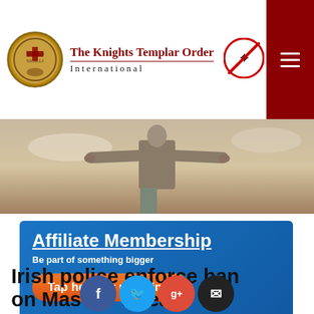[Figure (logo): The Knights Templar Order International logo with circular seal and masonic ban symbol]
[Figure (photo): Hero image of a figure with arms outstretched against a sepia sky background]
[Figure (infographic): Blue affiliate membership ad banner with orange call-to-action button reading 'Tap here for more info']
Irish police enforce ban on Mas... threate... priests with jail